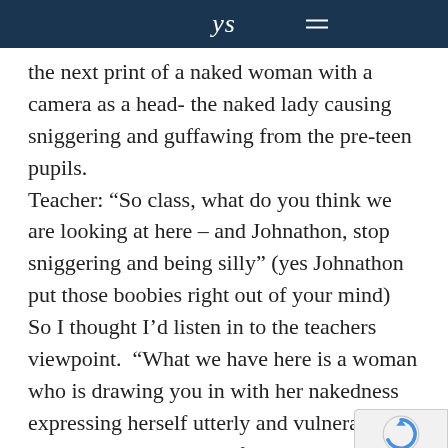ys
the next print of a naked woman with a camera as a head- the naked lady causing sniggering and guffawing from the pre-teen pupils.
Teacher: “So class, what do you think we are looking at here – and Johnathon, stop sniggering and being silly” (yes Johnathon put those boobies right out of your mind)  So I thought I’d listen in to the teachers viewpoint.  “What we have here is a woman who is drawing you in with her nakedness expressing herself utterly and vulnerably whilst then sending the focus back at you